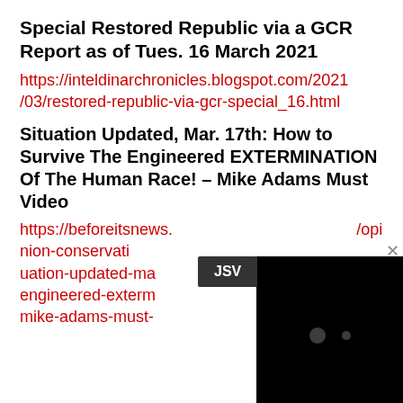Special Restored Republic via a GCR Report as of Tues. 16 March 2021
https://inteldinarchronicles.blogspot.com/2021/03/restored-republic-via-gcr-special_16.html
Situation Updated, Mar. 17th: How to Survive The Engineered EXTERMINATION Of The Human Race! – Mike Adams Must Video
https://beforeitsnews.com/opinion-conservative/2021/03/situation-updated-mar-17th-how-to-survive-the-engineered-extermination-of-the-human-race-mike-adams-must-video
[Figure (screenshot): Partially obscured video player with a dark/black screen, a JSV badge overlay in dark grey, a close (x) button in the upper right, and two small circular controls visible on the black screen.]